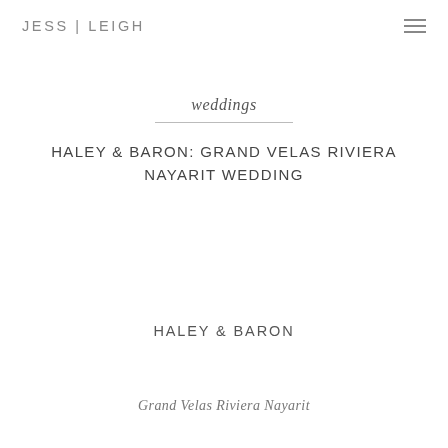JESS | LEIGH
weddings
HALEY & BARON: GRAND VELAS RIVIERA NAYARIT WEDDING
HALEY & BARON
Grand Velas Riviera Nayarit